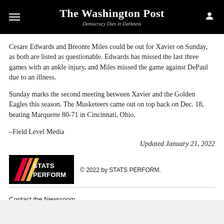The Washington Post — Democracy Dies in Darkness
Cesare Edwards and Breonte Miles could be out for Xavier on Sunday, as both are listed as questionable. Edwards has missed the last three games with an ankle injury, and Miles missed the game against DePaul due to an illness.
Sunday marks the second meeting between Xavier and the Golden Eagles this season. The Musketeers came out on top back on Dec. 18, beating Marquette 80-71 in Cincinnati, Ohio.
–Field Level Media
Updated January 21, 2022
[Figure (logo): STATS PERFORM logo — black background with colored diagonal stripes and white bold text]
© 2022 by STATS PERFORM.
Contact the Newsroom